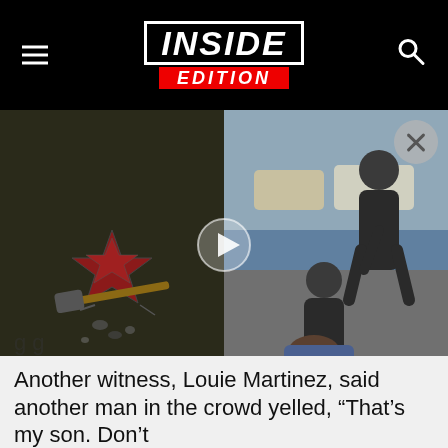INSIDE EDITION
[Figure (screenshot): Split video thumbnail: left side shows a broken Hollywood Walk of Fame star with a sledgehammer on dark pavement; right side shows police officers restraining a person on the ground near a street. A play button is visible in the center.]
Another witness, Louie Martinez, said another man in the crowd yelled, “That’s my son. Don’t